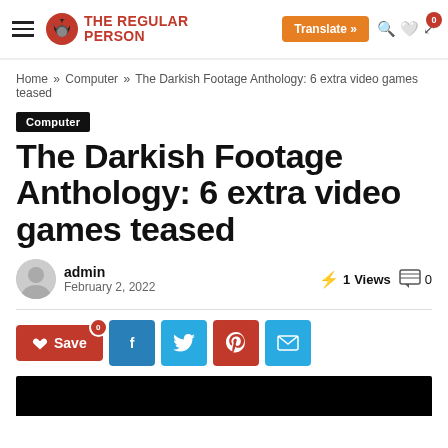The Regular Person — site header with logo, hamburger menu, translate button, search, wishlist, and cart icons
Home » Computer » The Darkish Footage Anthology: 6 extra video games teased
Computer
The Darkish Footage Anthology: 6 extra video games teased
admin
February 2, 2022
1 Views
0
[Figure (screenshot): Social sharing buttons: Save (red with heart icon, badge 0), Facebook (blue), Twitter (light blue), Pinterest (red), Email (light blue)]
[Figure (photo): Black image bar at bottom of page]